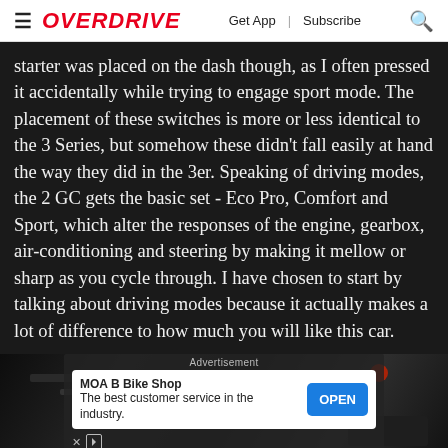OVERDRIVE | Get App | Subscribe
starter was placed on the dash though, as I often pressed it accidentally while trying to engage sport mode. The placement of these switches is more or less identical to the 3 Series, but somehow these didn't fall easily at hand the way they did in the 3er. Speaking of driving modes, the 2 GC gets the basic set - Eco Pro, Comfort and Sport, which alter the responses of the engine, gearbox, air-conditioning and steering by making it mellow or sharp as you cycle through. I have chosen to start by talking about driving modes because it actually makes a lot of difference to how much you will like this car.
[Figure (photo): Close-up of a car engine bay, dark/black components visible, partially obscured by an advertisement overlay]
Advertisement — MOA B Bike Shop: The best customer service in the industry. OPEN